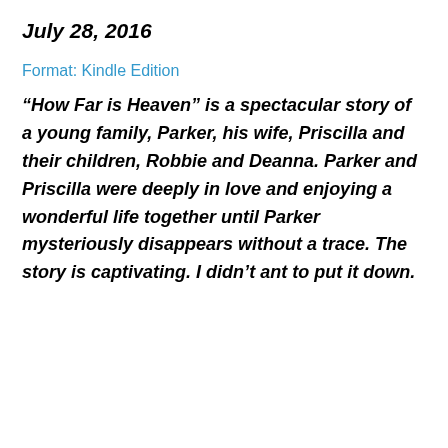July 28, 2016
Format: Kindle Edition
“How Far is Heaven” is a spectacular story of a young family, Parker, his wife, Priscilla and their children, Robbie and Deanna. Parker and Priscilla were deeply in love and enjoying a wonderful life together until Parker mysteriously disappears without a trace. The story is captivating. I didn’t ant to put it down.